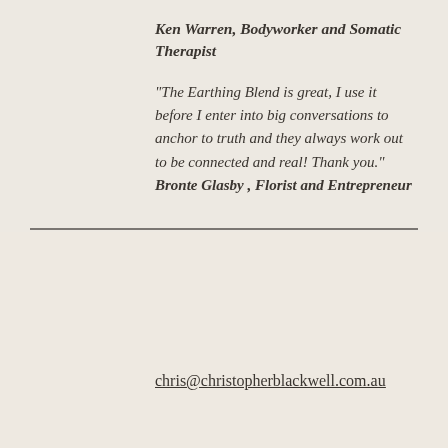Ken Warren, Bodyworker and Somatic Therapist
"The Earthing Blend is great, I use it before I enter into big conversations to anchor to truth and they always work out to be connected and real!  Thank you." Bronte Glasby ,  Florist and Entrepreneur
chris@christopherblackwell.com.au